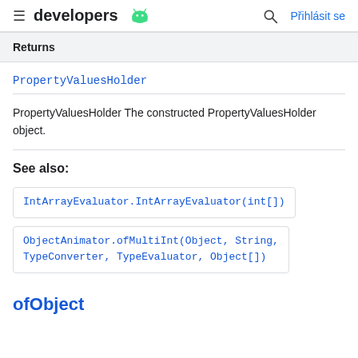developers  Přihlásit se
Returns
PropertyValuesHolder
PropertyValuesHolder The constructed PropertyValuesHolder object.
See also:
IntArrayEvaluator.IntArrayEvaluator(int[])
ObjectAnimator.ofMultiInt(Object, String, TypeConverter, TypeEvaluator, Object[])
ofObject